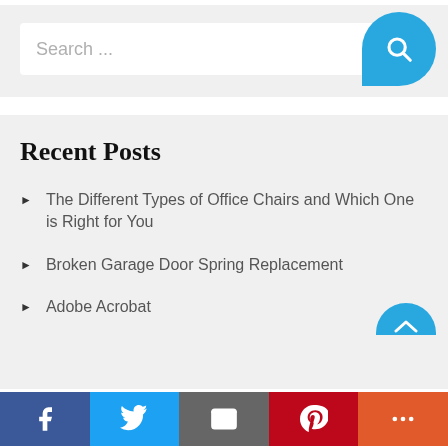[Figure (screenshot): Search widget with text input field showing 'Search ...' placeholder and a blue rounded search button icon on the right]
Recent Posts
The Different Types of Office Chairs and Which One is Right for You
Broken Garage Door Spring Replacement
Adobe Acrobat
[Figure (screenshot): Social share bar at the bottom with Facebook, Twitter, Email, Pinterest, and More buttons]